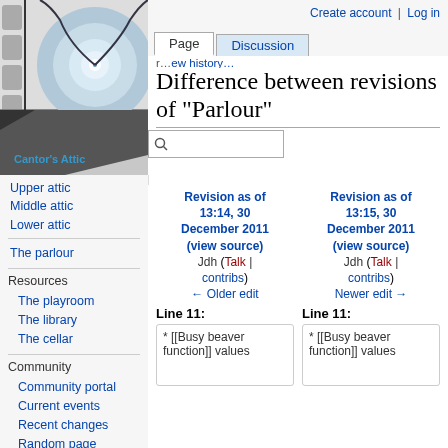Create account  Log in
[Figure (logo): Cantor's Attic wiki logo showing a spiral staircase with decorative elements and the text "Cantor's Attic"]
Upper attic
Middle attic
Lower attic
The parlour
Resources
The playroom
The library
The cellar
Community
Community portal
Current events
Recent changes
Random page
Difference between revisions of "Parlour"
| Revision as of 13:14, 30 December 2011 (view source) | Revision as of 13:15, 30 December 2011 (view source) |
| --- | --- |
| Jdh (Talk | contribs) | Jdh (Talk | contribs) |
| ← Older edit | Newer edit → |
| Line 11: | Line 11: |
| * [[Busy beaver function]] values | * [[Busy beaver function]] values |